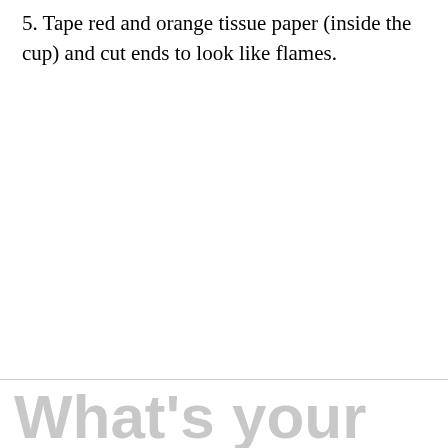5. Tape red and orange tissue paper (inside the cup) and cut ends to look like flames.
What's your